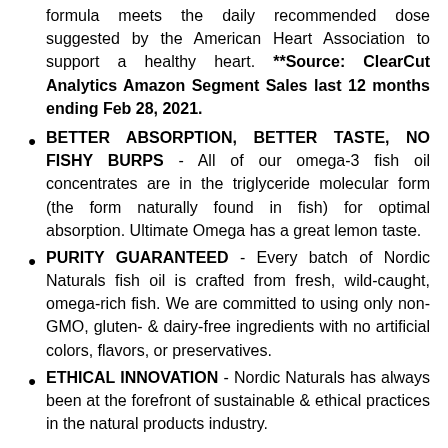formula meets the daily recommended dose suggested by the American Heart Association to support a healthy heart. **Source: ClearCut Analytics Amazon Segment Sales last 12 months ending Feb 28, 2021.
BETTER ABSORPTION, BETTER TASTE, NO FISHY BURPS - All of our omega-3 fish oil concentrates are in the triglyceride molecular form (the form naturally found in fish) for optimal absorption. Ultimate Omega has a great lemon taste.
PURITY GUARANTEED - Every batch of Nordic Naturals fish oil is crafted from fresh, wild-caught, omega-rich fish. We are committed to using only non-GMO, gluten- & dairy-free ingredients with no artificial colors, flavors, or preservatives.
ETHICAL INNOVATION - Nordic Naturals has always been at the forefront of sustainable & ethical practices in the natural products industry.